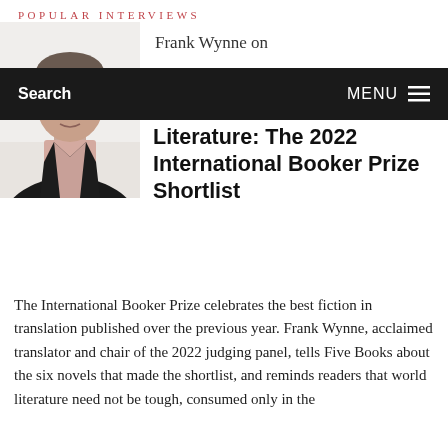POPULAR INTERVIEWS
[Figure (photo): Headshot of Frank Wynne, a man in a dark jacket and light pink shirt, against a white background]
Frank Wynne on
Search   MENU
Literature: The 2022 International Booker Prize Shortlist
The International Booker Prize celebrates the best fiction in translation published over the previous year. Frank Wynne, acclaimed translator and chair of the 2022 judging panel, tells Five Books about the six novels that made the shortlist, and reminds readers that world literature need not be tough, consumed only in the